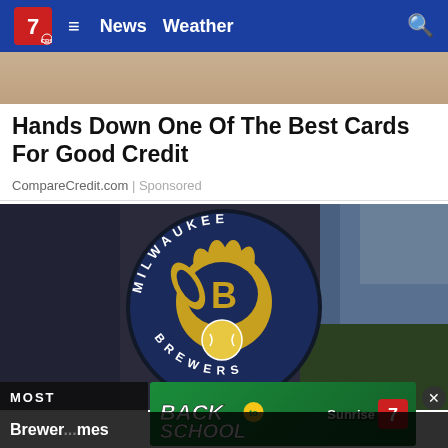News  Weather
[Figure (photo): Partial image strip showing a person, cropped at top of page]
Hands Down One Of The Best Cards For Good Credit
CompareCredit.com | Sponsored
[Figure (logo): Milwaukee Brewers logo on blurred stadium background — navy circle with MILWAUKEE text around top, BREWERS around bottom, and a yellow baseball glove with ball in the center]
MOST
[Figure (photo): Back to School advertisement banner with green background, stylized BACK to SCHOOL text and Sunrise 7 logo]
Brewer...mes